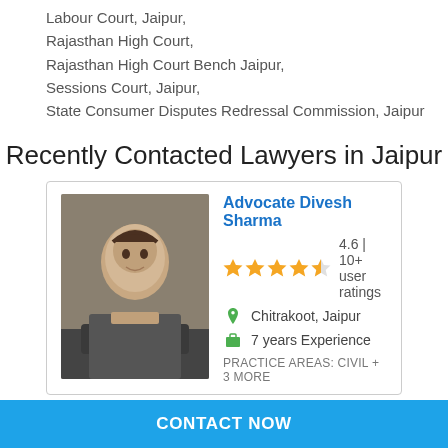Labour Court, Jaipur,
Rajasthan High Court,
Rajasthan High Court Bench Jaipur,
Sessions Court, Jaipur,
State Consumer Disputes Redressal Commission, Jaipur
Recently Contacted Lawyers in Jaipur
[Figure (photo): Portrait photo of Advocate Divesh Sharma]
Advocate Divesh Sharma
4.6 | 10+ user ratings
Chitrakoot, Jaipur
7 years Experience
PRACTICE AREAS: Civil + 3 more
CONTACT NOW